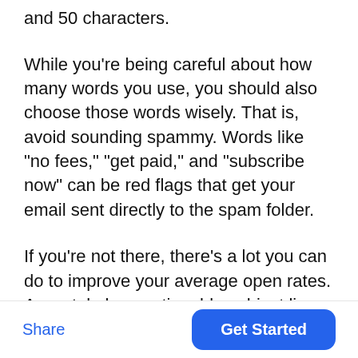and 50 characters.
While you’re being careful about how many words you use, you should also choose those words wisely. That is, avoid sounding spammy. Words like “no fees,” “get paid,” and “subscribe now” can be red flags that get your email sent directly to the spam folder.
If you’re not there, there’s a lot you can do to improve your average open rates. A crystal-clear, actionable subject line goes a long way, as does targeting
Share   Get Started